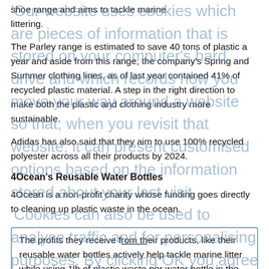shoe range and aims to tackle marine littering.
The Parley range is estimated to save 40 tons of plastic a year and aside from this range, the company's Spring and Summer clothing lines, as of last year contained 41% of recycled plastic material. A step in the right direction to make both the plastic and clothing industry more sustainable.
Adidas has also said that they aim to use 100% recycled polyester across all their products by 2024.
4Ocean's Reusable Water Bottles
4Ocean is a non-profit charity whose funding goes directly to cleaning up plastic waste in the ocean.
The profits they receive from their products, like their reusable water bottles actively help tackle marine litter while using 1lb of plastic waste per water bottle in the